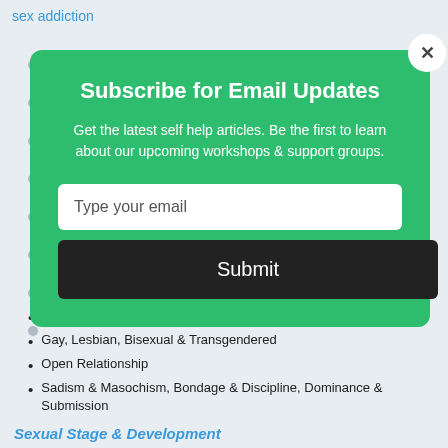sex addiction
[Figure (screenshot): Email subscription modal overlay on a green background with title 'Subscribe for Email Updates', subtitle text, email input field, and Submit button with a close (X) button in top right corner]
Sexual Stage & Development
Celibacy
Gay, Lesbian, Bisexual & Transgendered
Open Relationship
Sadism & Masochism, Bondage & Discipline, Dominance & Submission
Sexual Stage & Development
Adolescents and Sexuality
Children & Sexual Developmental Needs